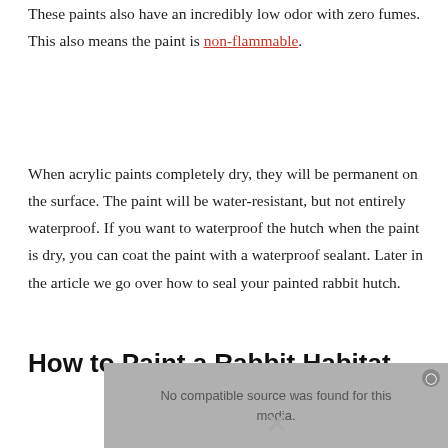These paints also have an incredibly low odor with zero fumes. This also means the paint is non-flammable.
When acrylic paints completely dry, they will be permanent on the surface. The paint will be water-resistant, but not entirely waterproof. If you want to waterproof the hutch when the paint is dry, you can coat the paint with a waterproof sealant. Later in the article we go over how to seal your painted rabbit hutch.
How to Paint a Rabbit Habitat
[Figure (other): Video player overlay showing 'No compatible source was found for this media.' with a close button and X icon]